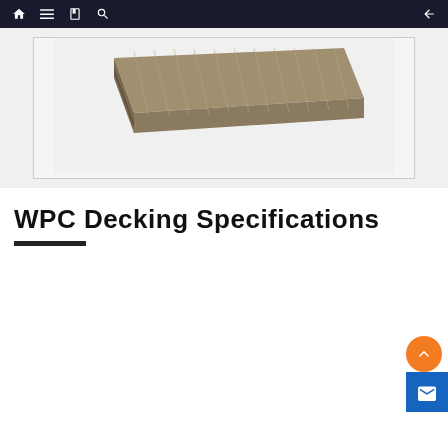Navigation bar with home, menu, book, search icons and back arrow
[Figure (photo): WPC decking board product photo showing a gray/taupe wood-plastic composite plank with ribbed texture on a white background, inside a bordered frame]
WPC Decking Specifications
| Property | Value |
| --- | --- |
| Material | 7% SURLYN, 30% HDPE, 54% Wood Powder, 9% Chemical Additives |
| Size | 140*23mm, 140*25mm, 70*11mm |
| Length | 2200mm, 2800mm, 2900mm or Customized |
| Color | Charcoal, Rosewood, Teak, Old Wood, Light Grey, Mahogany, Maple, Pale |
| Surface Treatment | Embossed, Wire-brushed |
| Applications | Garden, Lawn, Balcony, Corridor, Garage, Pool Surrounds, Beach Road, Scenic, etc. |